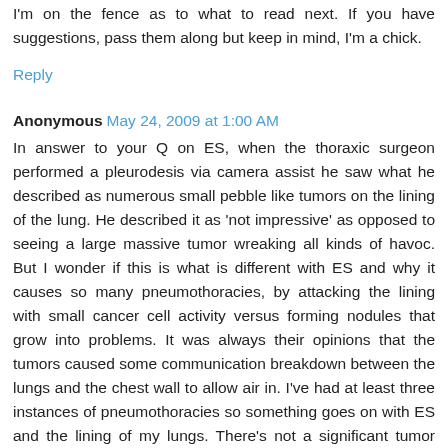I'm on the fence as to what to read next. If you have suggestions, pass them along but keep in mind, I'm a chick.
Reply
Anonymous May 24, 2009 at 1:00 AM
In answer to your Q on ES, when the thoraxic surgeon performed a pleurodesis via camera assist he saw what he described as numerous small pebble like tumors on the lining of the lung. He described it as 'not impressive' as opposed to seeing a large massive tumor wreaking all kinds of havoc. But I wonder if this is what is different with ES and why it causes so many pneumothoracies, by attacking the lining with small cancer cell activity versus forming nodules that grow into problems. It was always their opinions that the tumors caused some communication breakdown between the lungs and the chest wall to allow air in. I've had at least three instances of pneumothoracies so something goes on with ES and the lining of my lungs. There's not a significant tumor inside the lungs that would account for the problems. But there's always been PET scan activity/readings in the lungs. So cancer is present